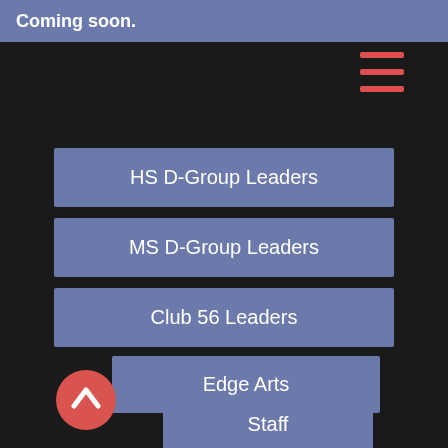Coming soon.
[Figure (screenshot): Hamburger menu icon with three red horizontal lines]
HS D-Group Leaders
MS D-Group Leaders
Club 56 Leaders
Edge Arts
Staff
[Figure (illustration): Red circular back/up button with chevron up arrow]